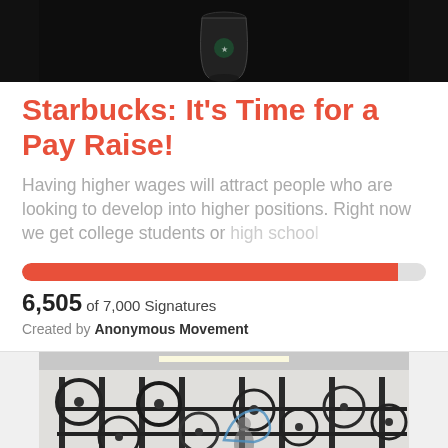[Figure (photo): Top portion of a dark background photo showing a Starbucks cup]
Starbucks: It’s Time for a Pay Raise!
Having higher wages will attract people who are looking to develop into higher positions. Right now we get college students or high school
[Figure (infographic): Progress bar showing 6,505 of 7,000 signatures filled in red/coral color]
6,505 of 7,000 Signatures
Created by Anonymous Movement
[Figure (photo): Indoor bicycle parking area with many bikes stored on vertical racks in a corridor]